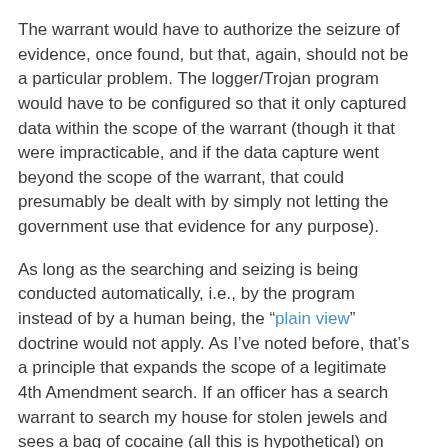The warrant would have to authorize the seizure of evidence, once found, but that, again, should not be a particular problem. The logger/Trojan program would have to be configured so that it only captured data within the scope of the warrant (though it that were impracticable, and if the data capture went beyond the scope of the warrant, that could presumably be dealt with by simply not letting the government use that evidence for any purpose).
As long as the searching and seizing is being conducted automatically, i.e., by the program instead of by a human being, the “plain view” doctrine would not apply. As I’ve noted before, that’s a principle that expands the scope of a legitimate 4th Amendment search. If an officer has a search warrant to search my house for stolen jewels and sees a bag of cocaine (all this is hypothetical) on my coffee table, the officer’s looking at the bag of cocaine is not a search (because he has the right to be where he is) and if looking at it gives him probable cause to believe it’s evidence of a crime, he can seize it. I don’t see how the plain view doctrine can apply to the extent that the remote searches we’re